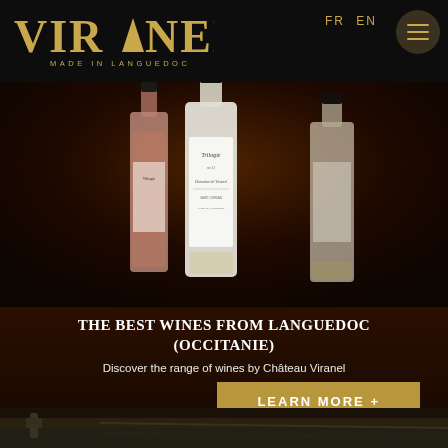FR EN
[Figure (logo): VIRANEL logo with golden text and triangle replacing the A, tagline MADE IN LANGUEDOC]
[Figure (photo): Three wine bottles from Château Viranel - a rosé, a white labeled Trilogie Domaine de Viranel, and another white, displayed on dark brown background]
THE BEST WINES FROM LANGUEDOC (OCCITANIE)
Discover the range of wines by Château Viranel
LEARN MORE +
[Figure (photo): Partial photo at bottom showing outdoor scene, partially visible]